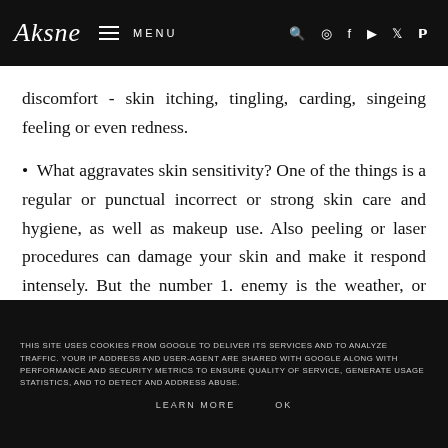Aksne — MENU
discomfort - skin itching, tingling, carding, singeing feeling or even redness.
• What aggravates skin sensitivity? One of the things is a regular or punctual incorrect or strong skin care and hygiene, as well as makeup use. Also peeling or laser procedures can damage your skin and make it respond intensely. But the number 1. enemy is the weather, or more precisely the rapid changes in the air temperature. Extreme temperature fluctuations contribute to capillary blood vessel expansions and contractions, the vessels can permanently expand or even burst. Did you know that skin metabolism reacts to climate
THIS SITE USES COOKIES FROM GOOGLE TO DELIVER ITS SERVICES AND TO ANALYZE TRAFFIC. YOUR IP ADDRESS AND USER-AGENT ARE SHARED WITH GOOGLE ALONG WITH PERFORMANCE AND SECURITY METRICS TO ENSURE QUALITY OF SERVICE, GENERATE USAGE STATISTICS, AND TO DETECT AND ADDRESS ABUSE. LEARN MORE   OK